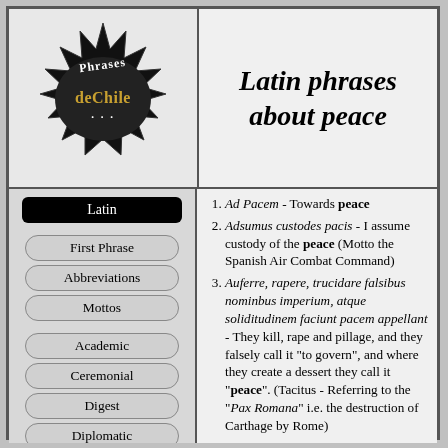[Figure (logo): Phrases deChile logo - black starburst with text Phrases deChile]
Latin phrases about peace
Latin (navigation button)
First Phrase
Abbreviations
Mottos
Academic
Ceremonial
Digest
Diplomatic
Ecclesiastical
1. Ad Pacem - Towards peace
2. Adsumus custodes pacis - I assume custody of the peace (Motto the Spanish Air Combat Command)
3. Auferre, rapere, trucidare falsibus nominbus imperium, atque soliditudinem faciunt pacem appellant - They kill, rape and pillage, and they falsely call it "to govern", and where they create a dessert they call it "peace". (Tacitus - Referring to the "Pax Romana" i.e. the destruction of Carthage by Rome)
4. Defensor pacis - Defender